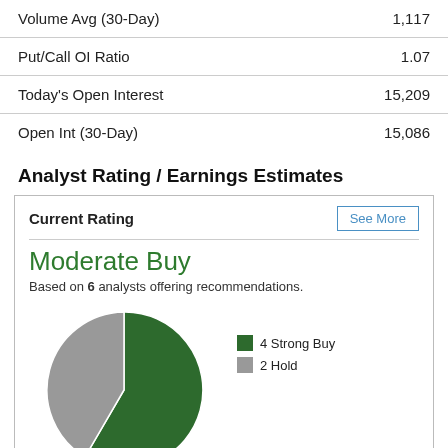| Metric | Value |
| --- | --- |
| Volume Avg (30-Day) | 1,117 |
| Put/Call OI Ratio | 1.07 |
| Today's Open Interest | 15,209 |
| Open Int (30-Day) | 15,086 |
Analyst Rating / Earnings Estimates
Current Rating
Moderate Buy
Based on 6 analysts offering recommendations.
[Figure (pie-chart): Analyst Rating]